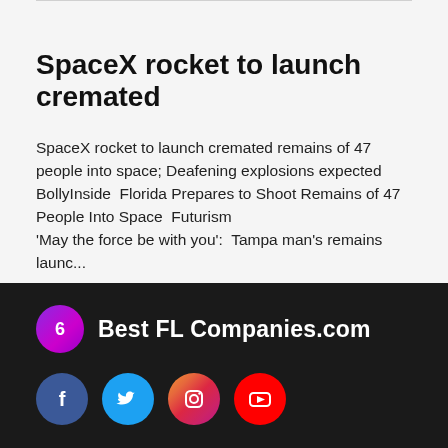SpaceX rocket to launch cremated
SpaceX rocket to launch cremated remains of 47 people into space; Deafening explosions expected  BollyInside  Florida Prepares to Shoot Remains of 47 People Into Space  Futurism
'May the force be with you':  Tampa man's remains launc...
May, 26 2022
[Figure (logo): Best FL Companies.com logo with purple circular icon]
[Figure (logo): Social media icons: Facebook, Twitter, Instagram, YouTube]